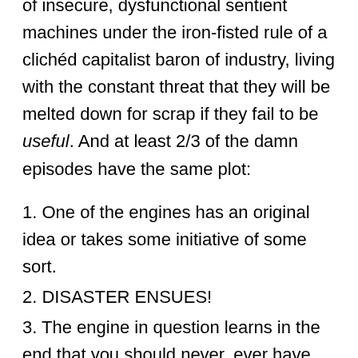Engine is the worst kids show ever. Bunch of insecure, dysfunctional sentient machines under the iron-fisted rule of a clichéd capitalist baron of industry, living with the constant threat that they will be melted down for scrap if they fail to be useful. And at least 2/3 of the damn episodes have the same plot:
1. One of the engines has an original idea or takes some initiative of some sort.
2. DISASTER ENSUES!
3. The engine in question learns in the end that you should never, ever have ideas or do anything other than EXACTLY WHAT